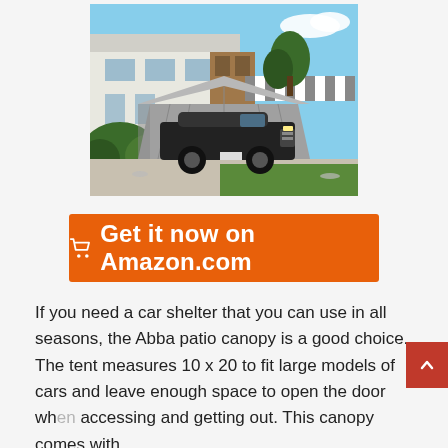[Figure (photo): A gray canopy/car shelter tent covering a black SUV parked in front of a modern white house with trees in the background.]
🛒  Get it now on Amazon.com
If you need a car shelter that you can use in all seasons, the Abba patio canopy is a good choice. The tent measures 10 x 20 to fit large models of cars and leave enough space to open the door wh... accessing and getting out. This canopy comes with